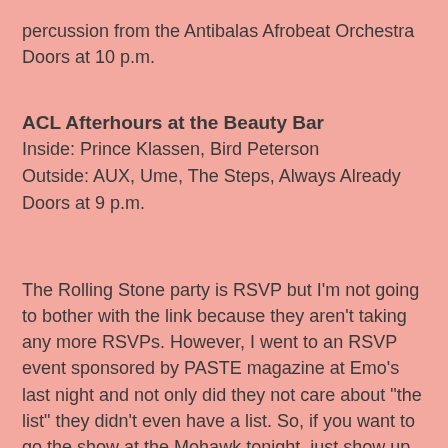percussion from the Antibalas Afrobeat Orchestra
Doors at 10 p.m.
ACL Afterhours at the Beauty Bar
Inside: Prince Klassen, Bird Peterson
Outside: AUX, Ume, The Steps, Always Already
Doors at 9 p.m.
The Rolling Stone party is RSVP but I'm not going to bother with the link because they aren't taking any more RSVPs. However, I went to an RSVP event sponsored by PASTE magazine at Emo's last night and not only did they not care about "the list" they didn't even have a list. So, if you want to go the show at the Mohawk tonight, just show up early and act like you're supposed to be there. Another good trick is to pretend you don't know their having an event and you just wanted a Lone Star real quick. Good luck and godspeed dear reader. If you are headed to Zilker for the fest don't forget your dang sunscreen!